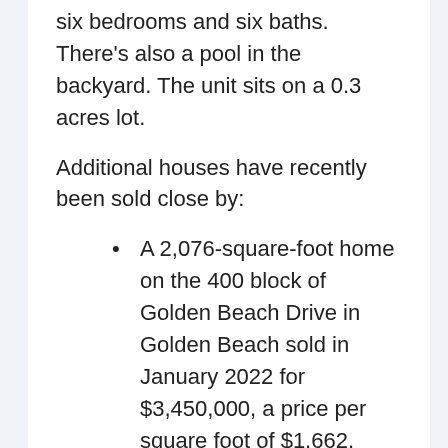six bedrooms and six baths. There's also a pool in the backyard. The unit sits on a 0.3 acres lot.
Additional houses have recently been sold close by:
A 2,076-square-foot home on the 400 block of Golden Beach Drive in Golden Beach sold in January 2022 for $3,450,000, a price per square foot of $1,662.
On Golden Beach Drive, Golden Beach, in April 2022, a 5,713-square-foot home was sold for $12,000,000, a price per square foot of $2,100.
In March 2022, a 7,669-square-